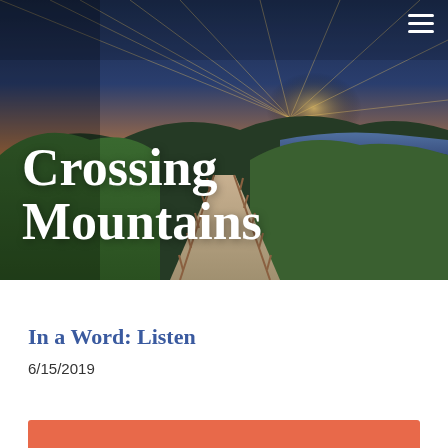[Figure (photo): Hero image of a mountain path/walkway with wooden railings leading into the distance, green hills, water in background, dramatic sunset sky with rays of light.]
Crossing Mountains
In a Word: Listen
6/15/2019
[Figure (other): Orange/coral colored rectangular banner at the bottom of the page.]